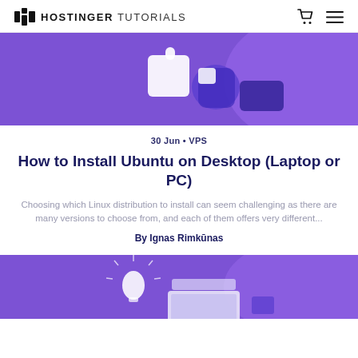HOSTINGER TUTORIALS
[Figure (illustration): Purple banner with puzzle/plugin illustration on purple background, top portion visible]
30 Jun • VPS
How to Install Ubuntu on Desktop (Laptop or PC)
Choosing which Linux distribution to install can seem challenging as there are many versions to choose from, and each of them offers very different...
By Ignas Rimkūnas
[Figure (illustration): Purple banner with light bulb and laptop illustration, bottom portion visible]